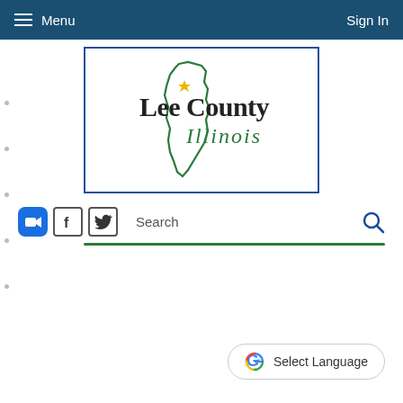Menu   Sign In
[Figure (logo): Lee County Illinois logo with outline map of Illinois state, a star marker, and text 'Lee County Illinois' in black and green italic]
[Figure (other): Social media icons: Zoom (blue), Facebook (f), Twitter (bird); search bar with magnifying glass icon; green underline separator]
[Figure (other): Google Translate 'Select Language' button with Google G logo]